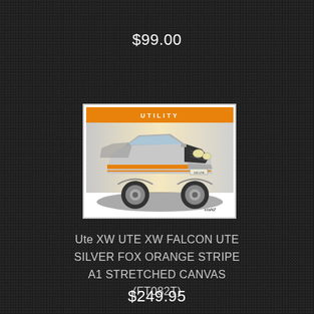$99.00
[Figure (illustration): Illustration of a Ford XW Falcon Ute in silver with orange stripe, shown from a front three-quarter angle on a white background with 'UTILITY' text and a small logo at bottom right.]
Ute XW UTE XW FALCON UTE SILVER FOX ORANGE STRIPE A1 STRETCHED CANVAS (FT082T)
$249.95